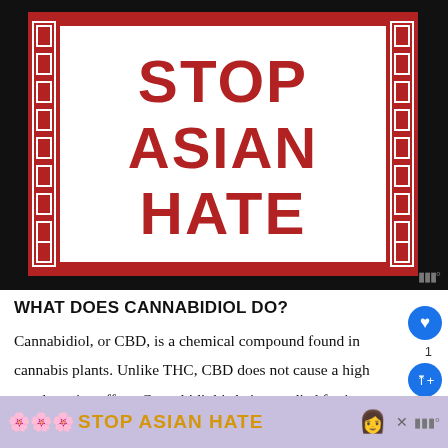[Figure (illustration): Stop Asian Hate graphic — bold red text reading STOP ASIAN HATE on a white background with a red decorative border, set against a black background. Chinese-style decorative patterns frame the sides.]
WHAT DOES CANNABIDIOL DO?
Cannabidiol, or CBD, is a chemical compound found in cannabis plants. Unlike THC, CBD does not cause a high psychoactive effect. Cannabidiol is being studied for its potential therapeutic effects on several health conditions, inc                                                   rch
[Figure (illustration): Bottom advertisement banner with purple/lavender background showing 'STOP ASIAN HATE' text in bold yellow/gold with flower decorations and an anime-style character.]